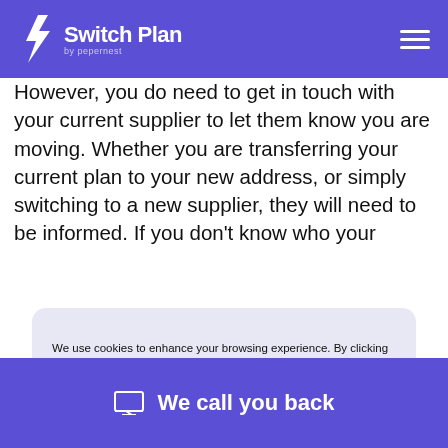Switch Plan by pepernest
However, you do need to get in touch with your current supplier to let them know you are moving. Whether you are transferring your current plan to your new address, or simply switching to a new supplier, they will need to be informed. If you don't know who your
We use cookies to enhance your browsing experience. By clicking ˝Accept All˝ you consent to our use of cookies. Learn more about our use of cookies.
Cookies
DECLINE
ACCEPT
up.
We call you back
know that moving house is the perfect time to switch energy suppliers? This is because when you move to